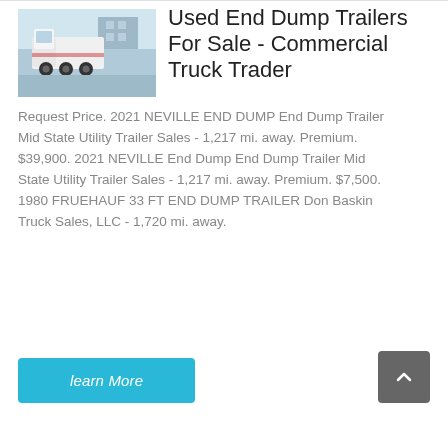[Figure (photo): Thumbnail photo of a white commercial truck/semi-truck in a parking area]
Used End Dump Trailers For Sale - Commercial Truck Trader
Request Price. 2021 NEVILLE END DUMP End Dump Trailer Mid State Utility Trailer Sales - 1,217 mi. away. Premium. $39,900. 2021 NEVILLE End Dump End Dump Trailer Mid State Utility Trailer Sales - 1,217 mi. away. Premium. $7,500. 1980 FRUEHAUF 33 FT END DUMP TRAILER Don Baskin Truck Sales, LLC - 1,720 mi. away.
learn More